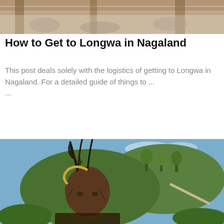[Figure (photo): Top portion of an outdoor scene, partially cropped — showing what appears to be a thatched roof or wooden structure against a muted background.]
How to Get to Longwa in Nagaland
This post deals solely with the logistics of getting to Longwa in Nagaland. For a detailed guide of things to ...
[Figure (photo): Portrait of an elderly Naga tribal man wearing traditional headgear with feathers and a curved hornbill ornament, with facial tattoos, against a green hilly landscape background in Nagaland, India.]